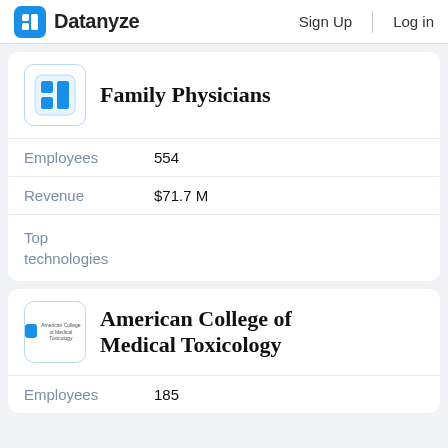Datanyze   Sign Up   Log in
Family Physicians
Employees   554
Revenue   $71.7 M
Top technologies
American College of Medical Toxicology
Employees   185